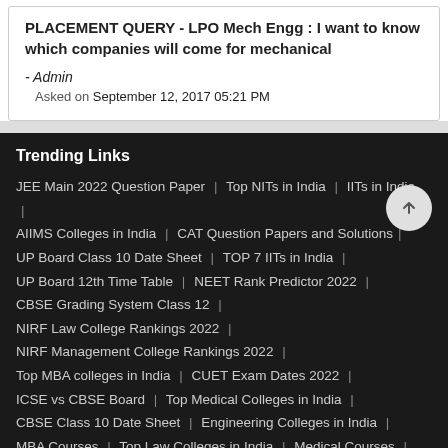PLACEMENT QUERY - LPO Mech Engg : I want to know which companies will come for mechanical
- Admin
Asked on September 12, 2017 05:21 PM
Trending Links
JEE Main 2022 Question Paper | Top NITs in India | IITs in India | AIIMS Colleges in India | CAT Question Papers and Solutions | UP Board Class 10 Date Sheet | TOP 7 IITs in India | UP Board 12th Time Table | NEET Rank Predictor 2022 | CBSE Grading System Class 12 | NIRF Law College Rankings 2022 | NIRF Management College Rankings 2022 | Top MBA colleges in India | CUET Exam Dates 2022 | ICSE vs CBSE Board | Top Medical Colleges in India | CBSE Class 10 Date Sheet | Engineering Colleges in India | MBA Courses | Top Law Colleges in India | Medical Courses | CBSE Class 12 Date Sheet | CUET 2022 | JEE Main Marks Vs Percentile |